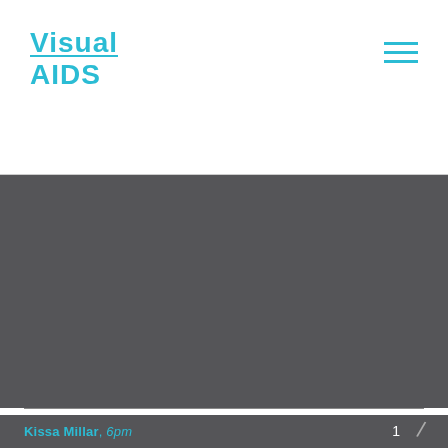Visual AIDS
[Figure (photo): Dark gray background image area, nearly uniform dark gray/charcoal color, representing a photograph or artwork by Kissa Millar]
Kissa Millar, 6pm
1